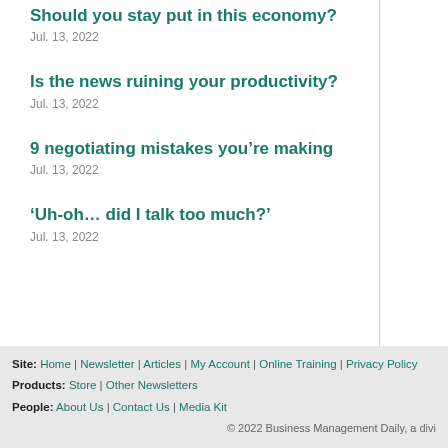Should you stay put in this economy?
Jul. 13, 2022
Is the news ruining your productivity?
Jul. 13, 2022
9 negotiating mistakes you’re making
Jul. 13, 2022
‘Uh-oh… did I talk too much?’
Jul. 13, 2022
Site: Home | Newsletter | Articles | My Account | Online Training | Privacy Policy
Products: Store | Other Newsletters
People: About Us | Contact Us | Media Kit
© 2022 Business Management Daily, a divi